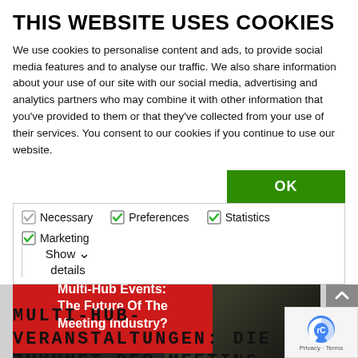THIS WEBSITE USES COOKIES
We use cookies to personalise content and ads, to provide social media features and to analyse our traffic. We also share information about your use of our site with our social media, advertising and analytics partners who may combine it with other information that you've provided to them or that they've collected from your use of their services. You consent to our cookies if you continue to use our website.
OK
Necessary   Preferences   Statistics   Marketing   Show details
[Figure (photo): Dark background photo of event/meeting industry equipment with a red overlay box containing white text 'Multi-Hub Events: The Future Of The Meeting Industry?']
MULTI-HUB-VERANSTALTUNGEN: DIE ZUKUNFT DER MEETING-